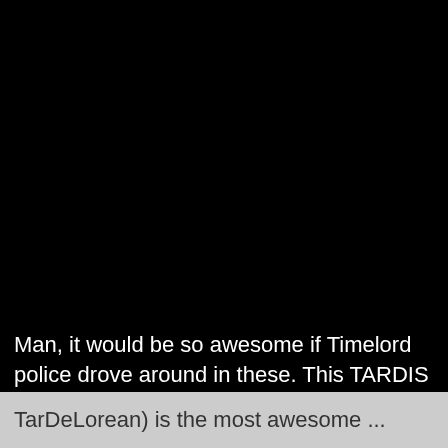[Figure (photo): Large dark/black area occupying the upper portion of the page, appears to be a very dark or night-time photograph.]
Man, it would be so awesome if Timelord police drove around in these. This TARDIS Delorean, or CARDIS (or TarDeLorean) is the most awesome ...